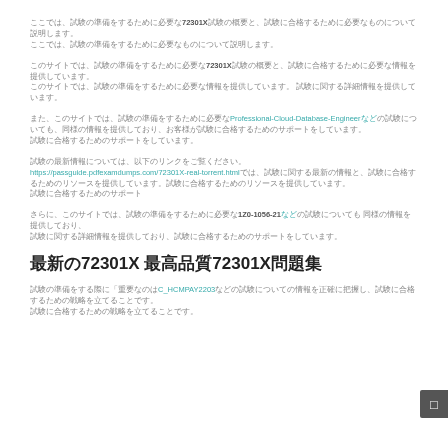ここでは、試験の準備をするために必要な72301X試験の概要と、試験に合格するために必要なものについて説明します。
このサイトでは、試験の準備をするために必要な72301X試験の概要と、試験に合格するために必要な情報を提供しています。 試験に関する詳細情報を提供しています。
また、Professional-Cloud-Database-Engineerなどの試験についても、同様の情報を提供しており、お客様が試験に合格するためのサポートをしています。
試験の最新情報については、以下のリンクをご覧ください。
https://passguide.pdfexamdumps.com/72301X-real-torrent.htmlでは、試験に関する最新の情報と、試験に合格するためのリソースを提供しています。
さらに、1Z0-1056-21などの試験についても 同様の情報を提供しており、試験に合格するためのサポートをしています。
最新の72301X 最高品質72301X問題集
試験の準備をする際に「重要なのはC_HCMPAY2203などの試験についての情報を正確に把握し、試験に合格するための戦略を立てることです。